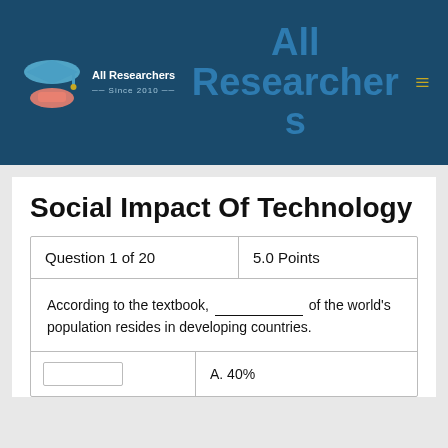[Figure (logo): All Researchers logo with graduation cap and hand icon, text 'All Researchers Since 2010']
All Researchers
Social Impact Of Technology
| Question 1 of 20 | 5.0 Points |
| --- | --- |
According to the textbook, ___________ of the world's population resides in developing countries.
|  | A. 40% |